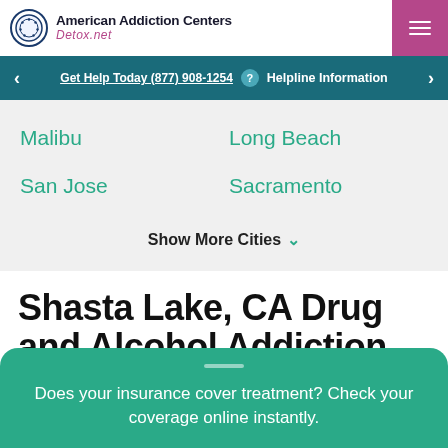[Figure (logo): American Addiction Centers Detox.net logo with globe icon]
Get Help Today (877) 908-1254  Helpline Information
Malibu
Long Beach
San Jose
Sacramento
Show More Cities ∨
Shasta Lake, CA Drug and Alcohol Addiction
Does your insurance cover treatment? Check your coverage online instantly.